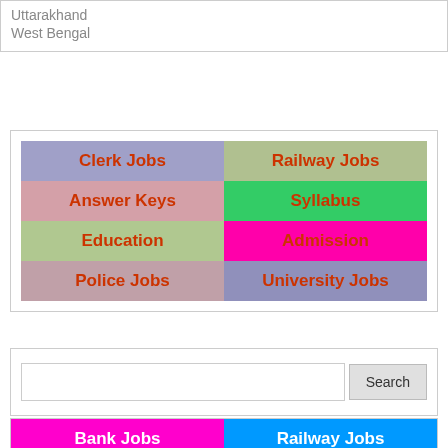Uttarakhand
West Bengal
[Figure (infographic): Grid of job category links: Clerk Jobs, Railway Jobs, Answer Keys, Syllabus, Education, Admission, Police Jobs, University Jobs]
[Figure (infographic): Search bar with Search button]
[Figure (infographic): Grid of job category links: Bank Jobs, Railway Jobs]